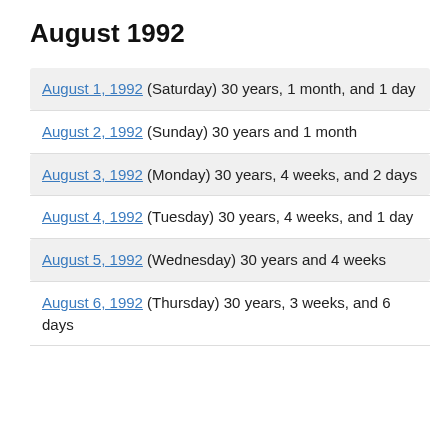August 1992
August 1, 1992 (Saturday) 30 years, 1 month, and 1 day
August 2, 1992 (Sunday) 30 years and 1 month
August 3, 1992 (Monday) 30 years, 4 weeks, and 2 days
August 4, 1992 (Tuesday) 30 years, 4 weeks, and 1 day
August 5, 1992 (Wednesday) 30 years and 4 weeks
August 6, 1992 (Thursday) 30 years, 3 weeks, and 6 days